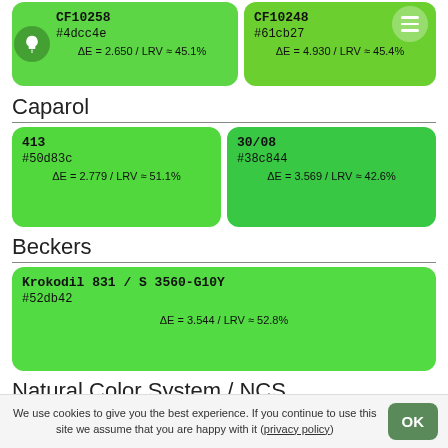[Figure (infographic): Two green color swatches at top: CF10258 (#4dcc4e, ΔE=2.650/LRV≈45.1%) and CF10248 (#61cb27, ΔE=4.930/LRV≈45.4%) with bulb icon and menu icon overlaid]
Caparol
[Figure (infographic): Two green color swatches: 413 (#50d83c, ΔE=2.779/LRV≈51.1%) and 30/08 (#38c844, ΔE=3.569/LRV≈42.6%)]
Beckers
[Figure (infographic): Full-width green swatch: Krokodil 831 / S 3560-G10Y (#52db42, ΔE=3.544/LRV≈52.8%)]
Natural Color System / NCS
[Figure (infographic): Two green color swatches: S 0570-G20Y (#45c643, ΔE=3.919/LRV≈42.1%) and S 0570-G30Y (#6ed03a, ΔE=4.819/LRV≈48.7%)]
We use cookies to give you the best experience. If you continue to use this site we assume that you are happy with it (privacy policy)